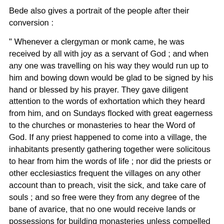Bede also gives a portrait of the people after their conversion :
" Whenever a clergyman or monk came, he was received by all with joy as a servant of God ; and when any one was travelling on his way they would run up to him and bowing down would be glad to be signed by his hand or blessed by his prayer. They gave diligent attention to the words of exhortation which they heard from him, and on Sundays flocked with great eagerness to the churches or monasteries to hear the Word of God. If any priest happened to come into a village, the inhabitants presently gathering together were solicitous to hear from him the words of life ; nor did the priests or other ecclesiastics frequent the villages on any other account than to preach, visit the sick, and take care of souls ; and so free were they from any degree of the bane of avarice, that no one would receive lands or possessions for building monasteries unless compelled to it by the secular power" (Bede, E. H. iii. c. 26).
King Oswald caught the spirit of S. Aidan, and his faith was demonstrated in good works. On a certain Easter Day, when